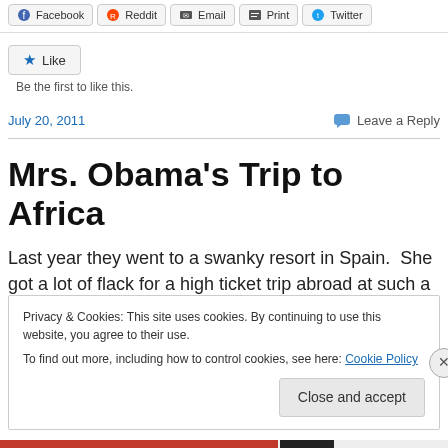Facebook | Reddit | Email | Print | Twitter
Like
Be the first to like this.
July 20, 2011   Leave a Reply
Mrs. Obama's Trip to Africa
Last year they went to a swanky resort in Spain.  She got a lot of flack for a high ticket trip abroad at such a time of
Privacy & Cookies: This site uses cookies. By continuing to use this website, you agree to their use.
To find out more, including how to control cookies, see here: Cookie Policy
Close and accept